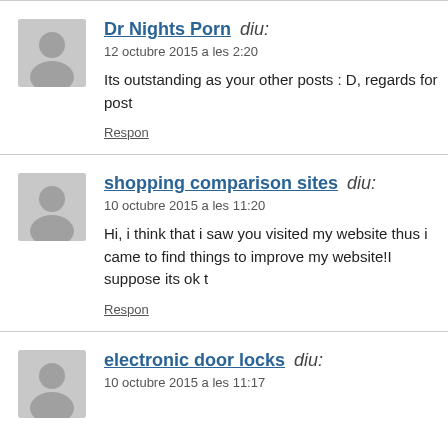Dr Nights Porn diu:
12 octubre 2015 a les 2:20
Its outstanding as your other posts : D, regards for post
shopping comparison sites diu:
10 octubre 2015 a les 11:20
Hi, i think that i saw you visited my website thus i came to find things to improve my website!I suppose its ok t
electronic door locks diu:
10 octubre 2015 a les 11:17